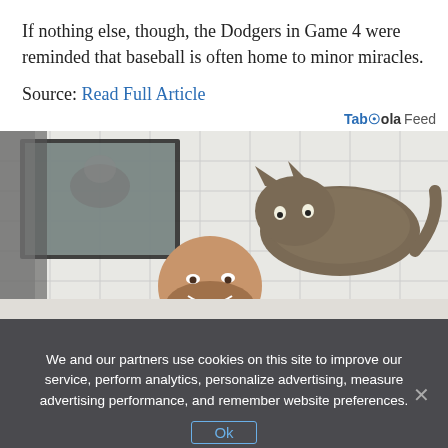If nothing else, though, the Dodgers in Game 4 were reminded that baseball is often home to minor miracles.
Source: Read Full Article
[Figure (photo): A man lying in a bathtub smiling up at a tabby cat perched on the edge of the tub, with a bathroom mirror and grey towel visible in the background.]
We and our partners use cookies on this site to improve our service, perform analytics, personalize advertising, measure advertising performance, and remember website preferences.